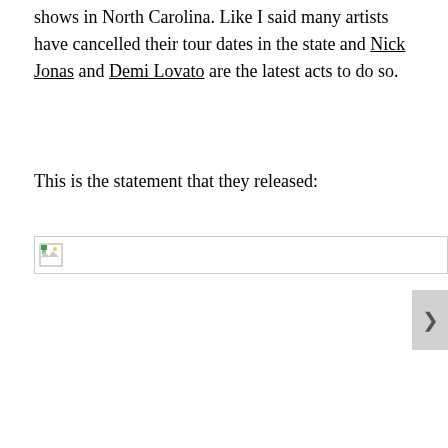shows in North Carolina. Like I said many artists have cancelled their tour dates in the state and Nick Jonas and Demi Lovato are the latest acts to do so.
This is the statement that they released:
[Figure (photo): Broken image placeholder icon in a bordered box]
Privacy & Cookies: This site uses cookies. By continuing to use this website, you agree to their use.
To find out more, including how to control cookies, see here: Cookie Policy
Close and accept
Follow ...